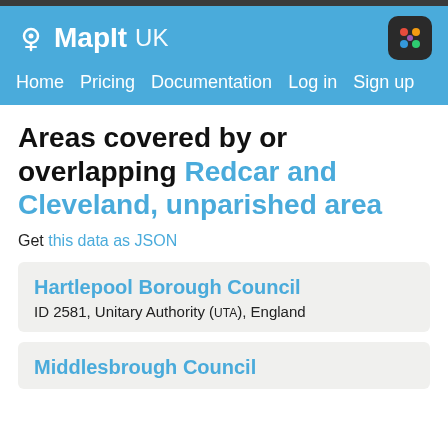MapIt UK — Home | Pricing | Documentation | Log in | Sign up
Areas covered by or overlapping Redcar and Cleveland, unparished area
Get this data as JSON
Hartlepool Borough Council
ID 2581, Unitary Authority (UTA), England
Middlesbrough Council